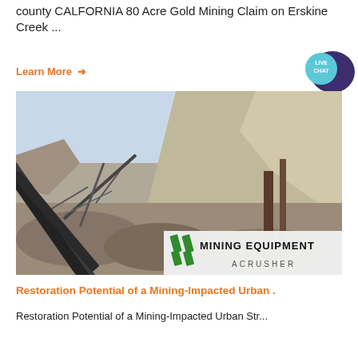county CALFORNIA 80 Acre Gold Mining Claim on Erskine Creek ...
Learn More →
[Figure (photo): Mining equipment and conveyor belt system in an open-pit quarry/mine. Rocky cliff face in background. MINING EQUIPMENT ACRUSHER watermark overlay in lower right corner.]
Restoration Potential of a Mining-Impacted Urban .
Restoration Potential of a Mining-Impacted Urban Str...